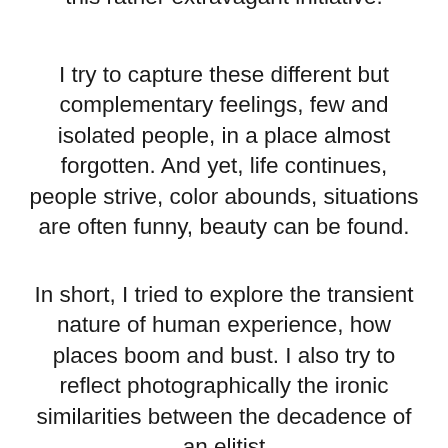this rather extravagant initiative.
I try to capture these different but complementary feelings, few and isolated people, in a place almost forgotten. And yet, life continues, people strive, color abounds, situations are often funny, beauty can be found.
In short, I tried to explore the transient nature of human experience, how places boom and bust. I also try to reflect photographically the ironic similarities between the decadence of an elitist